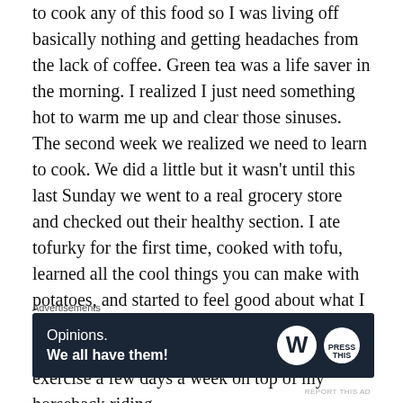to cook any of this food so I was living off basically nothing and getting headaches from the lack of coffee. Green tea was a life saver in the morning. I realized I just need something hot to warm me up and clear those sinuses. The second week we realized we need to learn to cook. We did a little but it wasn't until this last Sunday we went to a real grocery store and checked out their healthy section. I ate tofurky for the first time, cooked with tofu, learned all the cool things you can make with potatoes, and started to feel good about what I was eating. Through this whole ordeal I've lost about 8lbs, but I've also added in a little light exercise a few days a week on top of my horseback riding.
Advertisements
[Figure (other): WordPress advertisement banner with dark navy background. Text reads 'Opinions. We all have them!' with WordPress W logo and Press This logo on the right.]